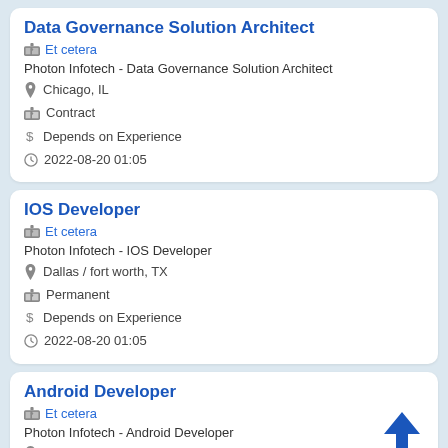Data Governance Solution Architect
Et cetera
Photon Infotech - Data Governance Solution Architect
Chicago, IL
Contract
Depends on Experience
2022-08-20 01:05
IOS Developer
Et cetera
Photon Infotech - IOS Developer
Dallas / fort worth, TX
Permanent
Depends on Experience
2022-08-20 01:05
Android Developer
Et cetera
Photon Infotech - Android Developer
Dallas / fort worth, TX